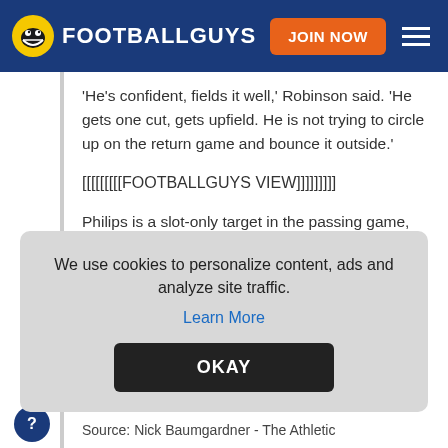FOOTBALLGUYS
'He's confident, fields it well,' Robinson said. 'He gets one cut, gets upfield. He is not trying to circle up on the return game and bounce it outside.'
[[[[[[[[[FOOTBALLGUYS VIEW]]]]]]]]]
Philips is a slot-only target in the passing game, but he can be a threat as a return man. He averaged 19.8 yards per return and a couple of scores in his career with the Bruins. Philips has great feet and uses his quickness to create space
We use cookies to personalize content, ads and analyze site traffic.
Learn More
OKAY
Source: Nick Baumgardner - The Athletic